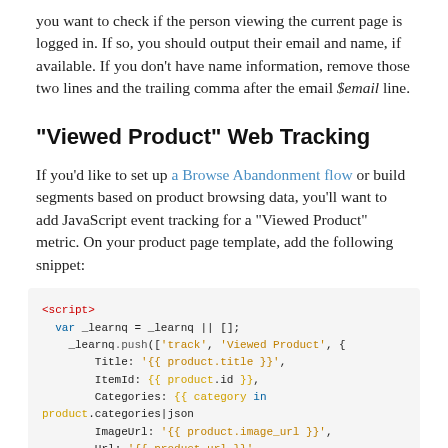you want to check if the person viewing the current page is logged in. If so, you should output their email and name, if available. If you don't have name information, remove those two lines and the trailing comma after the email $email line.
"Viewed Product" Web Tracking
If you'd like to set up a Browse Abandonment flow or build segments based on product browsing data, you'll want to add JavaScript event tracking for a "Viewed Product" metric. On your product page template, add the following snippet:
[Figure (screenshot): Code block showing JavaScript snippet for Viewed Product web tracking using _learnq.push with Title, ItemId, Categories, ImageUrl, and Url fields]